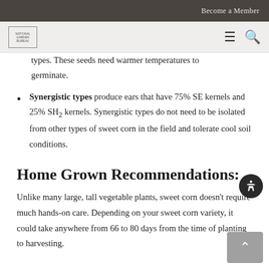Become a Member
types. These seeds need warmer temperatures to germinate.
Synergistic types produce ears that have 75% SE kernels and 25% SH2 kernels. Synergistic types do not need to be isolated from other types of sweet corn in the field and tolerate cool soil conditions.
Home Grown Recommendations:
Unlike many large, tall vegetable plants, sweet corn doesn't require much hands-on care. Depending on your sweet corn variety, it could take anywhere from 66 to 80 days from the time of planting to harvesting.